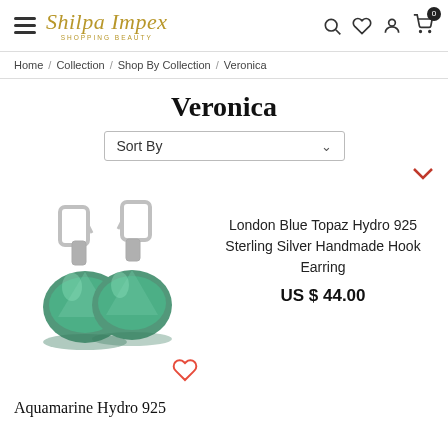Shilpa Impex — shopping beauty — header with hamburger menu, search, wishlist, account, cart icons
Home / Collection / Shop By Collection / Veronica
Veronica
Sort By
[Figure (photo): Two sterling silver hook earrings with green/teal hydro stone drops on white background]
London Blue Topaz Hydro 925 Sterling Silver Handmade Hook Earring
US $ 44.00
Aquamarine Hydro 925